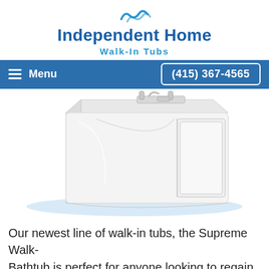[Figure (logo): Independent Home Walk-In Tubs logo with wave icon and blue text]
Menu   (415) 367-4565
[Figure (photo): White walk-in bathtub with door opening on the right side, silver faucet fixtures, shown on white background with subtle blue shadow]
Our newest line of walk-in tubs, the Supreme Walk- Bathtub is perfect for anyone looking to regain independence while bathing while relaxing in a luxurious